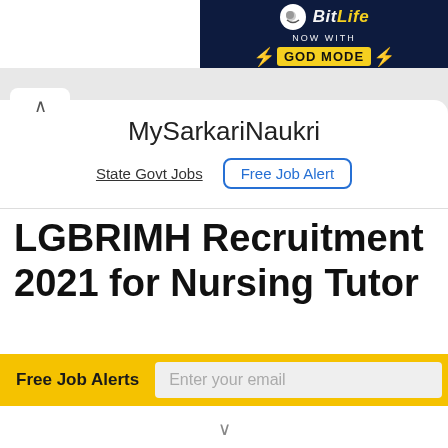[Figure (screenshot): BitLife game advertisement banner with dark background showing 'BitLife NOW WITH GOD MODE' text with yellow lightning bolt accents]
MySarkariNaukri
State Govt Jobs   Free Job Alert
LGBRIMH Recruitment 2021 for Nursing Tutor
Free Job Alerts   Enter your email